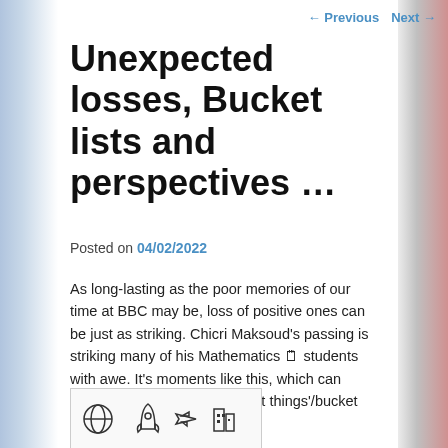← Previous   Next →
Unexpected losses, Bucket lists and perspectives …
Posted on 04/02/2022
As long-lasting as the poor memories of our time at BBC may be, loss of positive ones can be just as striking. Chicri Maksoud's passing is striking many of his Mathematics 🗒 students with awe. It's moments like this, which can reprioritise our 'most important things'/bucket lists …
[Figure (illustration): A bordered illustration box showing small icons: a globe, a rocket, an airplane, and a city/building icon]